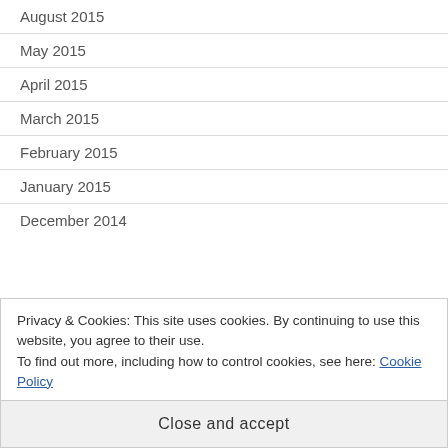August 2015
May 2015
April 2015
March 2015
February 2015
January 2015
December 2014
Privacy & Cookies: This site uses cookies. By continuing to use this website, you agree to their use.
To find out more, including how to control cookies, see here: Cookie Policy
Close and accept